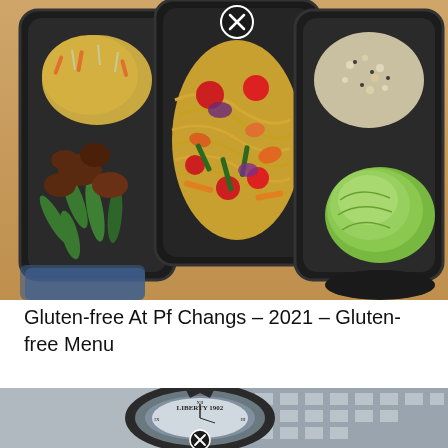[Figure (photo): Three black takeout containers on a wooden table with Chinese food: left container has stir-fried beef with green beans and vegetables, center container has Singapore noodles with tomatoes and shrimp, right container has quinoa/grain salad with lettuce. An X/close button appears at the top center of the image.]
Gluten-free At Pf Changs – 2021 – Gluten-free Menu
[Figure (photo): Partial view of a vintage compass or pocket watch with 'LIBERTY 1902' text, overlaid on a grayscale building background. An X/close button appears at the bottom center.]